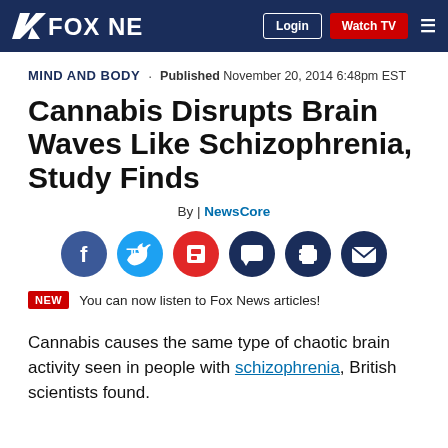FOX NEWS | Login | Watch TV
MIND AND BODY
Published November 20, 2014 6:48pm EST
Cannabis Disrupts Brain Waves Like Schizophrenia, Study Finds
By | NewsCore
[Figure (other): Social media sharing icons: Facebook, Twitter, Flipboard, Comments, Print, Email]
NEW  You can now listen to Fox News articles!
Cannabis causes the same type of chaotic brain activity seen in people with schizophrenia, British scientists found.